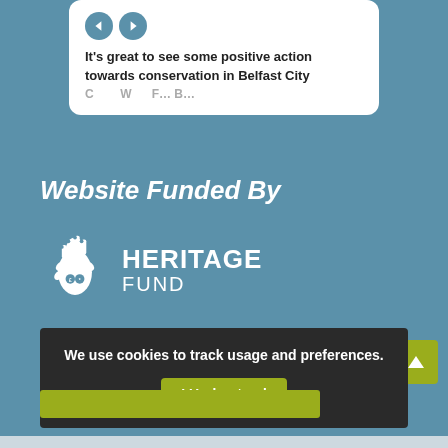[Figure (screenshot): A tweet/social media card with navigation arrows and partial text: It's great to see some positive action towards conservation in Belfast City...]
Website Funded By
[Figure (logo): National Lottery Heritage Fund logo — white hand/flame icon with text HERITAGE FUND]
We use cookies to track usage and preferences.
I Understand